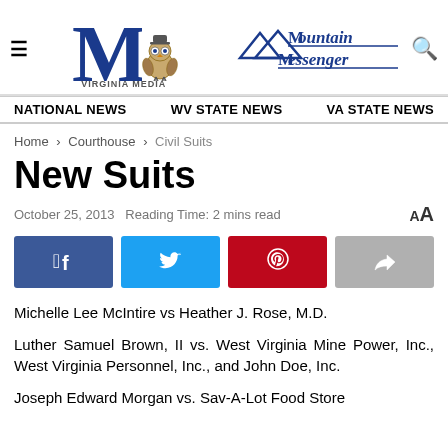[Figure (logo): Mountain Messenger / Virginia Media newspaper logo with large M, owl mascot, and mountain range graphic]
NATIONAL NEWS   WV STATE NEWS   VA STATE NEWS
Home > Courthouse > Civil Suits
New Suits
October 25, 2013   Reading Time: 2 mins read
Michelle Lee McIntire vs Heather J. Rose, M.D.
Luther Samuel Brown, II vs. West Virginia Mine Power, Inc., West Virginia Personnel, Inc., and John Doe, Inc.
Joseph Edward Morgan vs. Sav-A-Lot Food Store